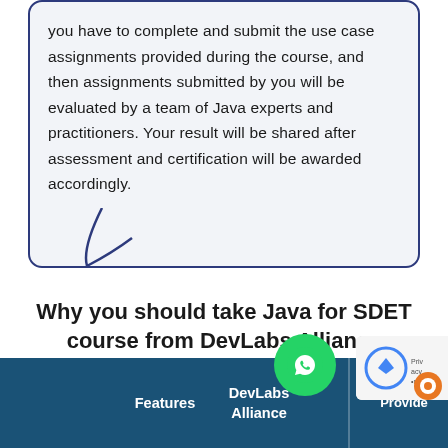you have to complete and submit the use case assignments provided during the course, and then assignments submitted by you will be evaluated by a team of Java experts and practitioners. Your result will be shared after assessment and certification will be awarded accordingly.
Why you should take Java for SDET course from DevLabs Alliance
| Features | DevLabs Alliance | Other Training Providers |
| --- | --- | --- |